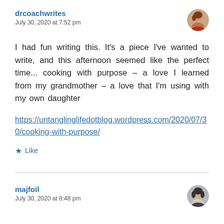drcoachwrites
July 30, 2020 at 7:52 pm
I had fun writing this. It's a piece I've wanted to write, and this afternoon seemed like the perfect time... cooking with purpose – a love I learned from my grandmother – a love that I'm using with my own daughter
https://untanglinglifedotblog.wordpress.com/2020/07/30/cooking-with-purpose/
Like
majfoil
July 30, 2020 at 8:48 pm